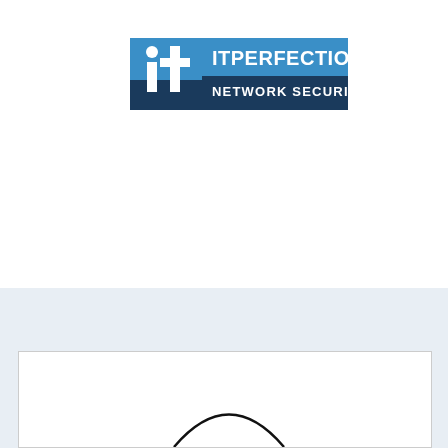[Figure (logo): IT Perfection Network Security logo — blue square background with stylized 'it' letters in white and dark navy, text 'ITPERFECTION' in bold white on blue bar, 'NETWORK SECURITY' in white on dark navy bar below]
[Figure (photo): Partial view of a photo or illustration showing a curved black line (possibly a cable or wire arch) on a white background, partially visible at the bottom of the page]